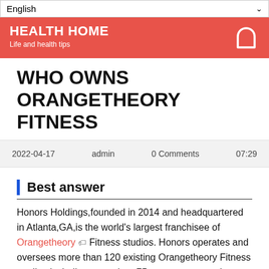English
HEALTH HOME
Life and health tips
WHO OWNS ORANGETHEORY FITNESS
2022-04-17   admin   0 Comments   07:29
Best answer
Honors Holdings,founded in 2014 and headquartered in Atlanta,GA,is the world's largest franchisee of Orangetheory Fitness studios. Honors operates and oversees more than 120 existing Orangetheory Fitness studios,including more than 75 corporate-owned locations and more than 45...